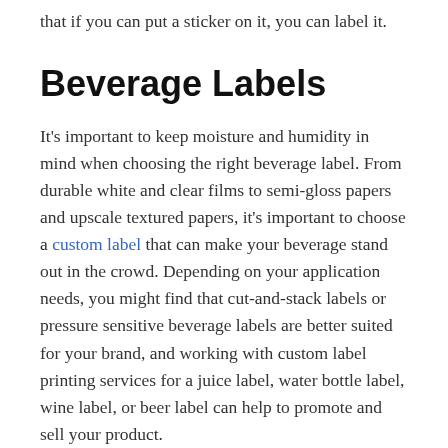that if you can put a sticker on it, you can label it.
Beverage Labels
It's important to keep moisture and humidity in mind when choosing the right beverage label. From durable white and clear films to semi-gloss papers and upscale textured papers, it's important to choose a custom label that can make your beverage stand out in the crowd. Depending on your application needs, you might find that cut-and-stack labels or pressure sensitive beverage labels are better suited for your brand, and working with custom label printing services for a juice label, water bottle label, wine label, or beer label can help to promote and sell your product.